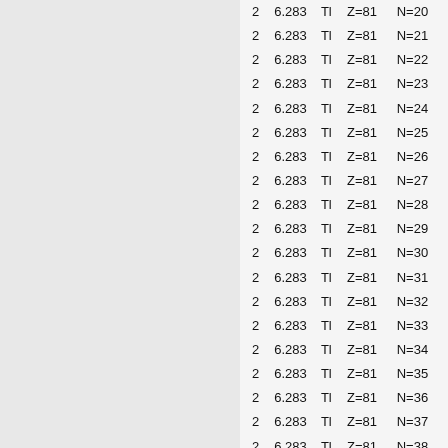|  |  |  |  |  |
| --- | --- | --- | --- | --- |
| 2 | 6.283 | Tl | Z=81 | N=20 |
| 2 | 6.283 | Tl | Z=81 | N=21 |
| 2 | 6.283 | Tl | Z=81 | N=22 |
| 2 | 6.283 | Tl | Z=81 | N=23 |
| 2 | 6.283 | Tl | Z=81 | N=24 |
| 2 | 6.283 | Tl | Z=81 | N=25 |
| 2 | 6.283 | Tl | Z=81 | N=26 |
| 2 | 6.283 | Tl | Z=81 | N=27 |
| 2 | 6.283 | Tl | Z=81 | N=28 |
| 2 | 6.283 | Tl | Z=81 | N=29 |
| 2 | 6.283 | Tl | Z=81 | N=30 |
| 2 | 6.283 | Tl | Z=81 | N=31 |
| 2 | 6.283 | Tl | Z=81 | N=32 |
| 2 | 6.283 | Tl | Z=81 | N=33 |
| 2 | 6.283 | Tl | Z=81 | N=34 |
| 2 | 6.283 | Tl | Z=81 | N=35 |
| 2 | 6.283 | Tl | Z=81 | N=36 |
| 2 | 6.283 | Tl | Z=81 | N=37 |
| 2 | 6.283 | Tl | Z=81 | N=38 |
| 2 | 6.283 | Tl | Z=81 | N=39 |
| 2 | 6.283 | Tl | Z=81 | N=40 |
| 2 | 6.283 | Tl | Z=81 | N=41 |
| 2 | 6.283 | Tl | Z=81 | N=42 |
| 2 | 6.283 | Tl | Z=81 | N=43 |
| 2 | 6.283 | Tl | Z=81 | N=44 |
| 2 | 6.283 | Tl | Z=81 | N=45 |